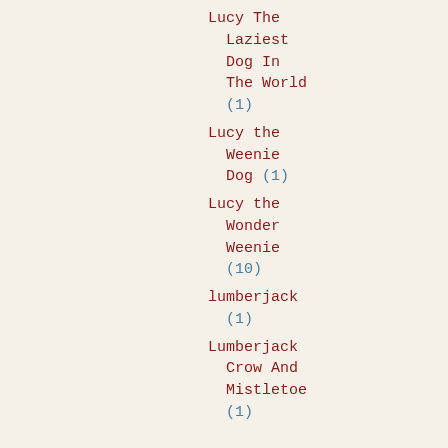Lucy The Laziest Dog In The World (1)
Lucy the Weenie Dog (1)
Lucy the Wonder Weenie (10)
lumberjack (1)
Lumberjack Crow And Mistletoe (1)